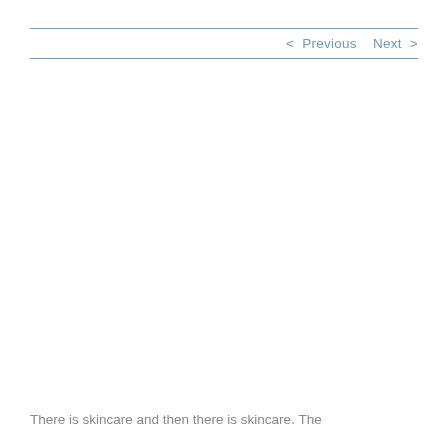< Previous   Next >
There is skincare and then there is skincare. The